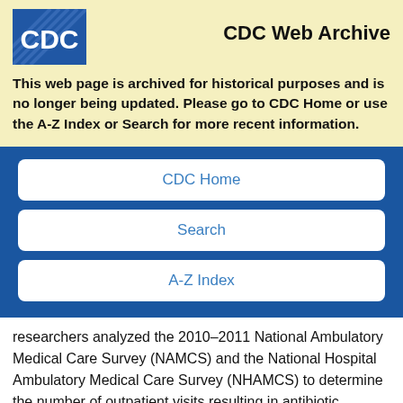[Figure (logo): CDC logo — blue square with 'CDC' in white letters and diagonal lines]
CDC Web Archive
This web page is archived for historical purposes and is no longer being updated. Please go to CDC Home or use the A-Z Index or Search for more recent information.
CDC Home
Search
A-Z Index
researchers analyzed the 2010–2011 National Ambulatory Medical Care Survey (NAMCS) and the National Hospital Ambulatory Medical Care Survey (NHAMCS) to determine the number of outpatient visits resulting in antibiotic prescriptions by age,